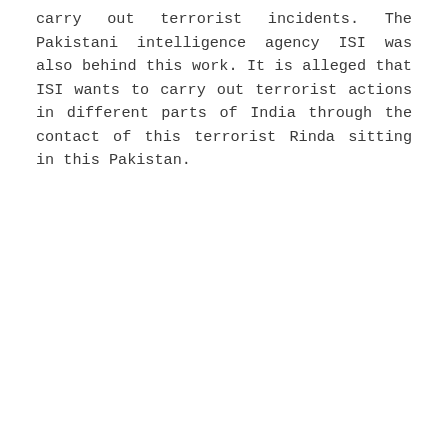carry out terrorist incidents. The Pakistani intelligence agency ISI was also behind this work. It is alleged that ISI wants to carry out terrorist actions in different parts of India through the contact of this terrorist Rinda sitting in this Pakistan.